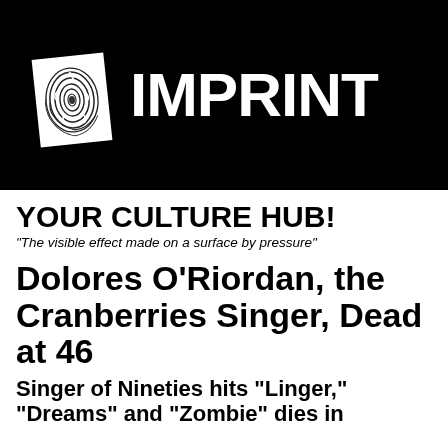[Figure (logo): Black banner with a fingerprint image on white paper (rotated) and bold white text reading IMPRINT]
YOUR CULTURE HUB!
"The visible effect made on a surface by pressure"
Dolores O’Riordan, the Cranberries Singer, Dead at 46
Singer of Nineties hits “Linger,” “Dreams” and “Zombie” dies in